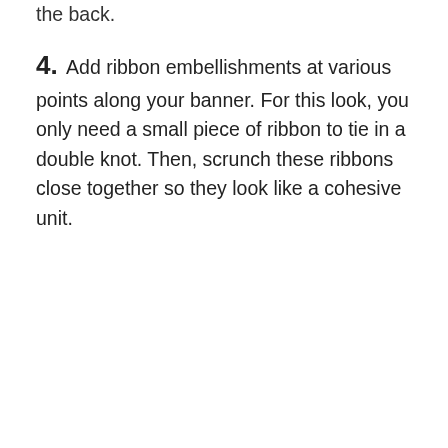the back.
4. Add ribbon embellishments at various points along your banner. For this look, you only need a small piece of ribbon to tie in a double knot. Then, scrunch these ribbons close together so they look like a cohesive unit.